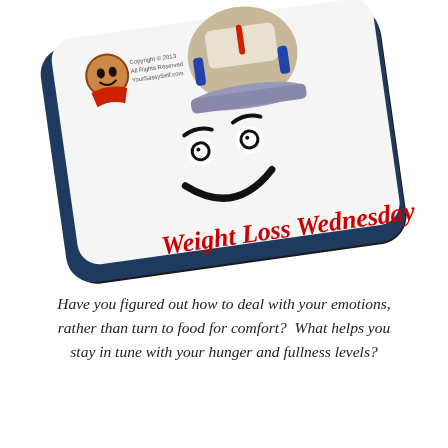[Figure (illustration): A tilted 3D card/tablet showing a cartoon weighing scale with a smiley face and the text 'Weight Loss Wednesday' in red italic font. A small cartoon avatar (woman with dark hair) appears in the top-left corner with copyright text 'Copyright © 2013 All Rights Reserved YourSassySelf.com'. The card has a dark navy border and appears to be a thick physical card tilted at an angle.]
Have you figured out how to deal with your emotions, rather than turn to food for comfort?  What helps you stay in tune with your hunger and fullness levels?